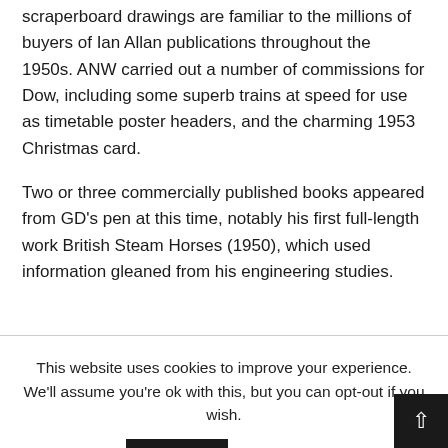scraperboard drawings are familiar to the millions of buyers of Ian Allan publications throughout the 1950s. ANW carried out a number of commissions for Dow, including some superb trains at speed for use as timetable poster headers, and the charming 1953 Christmas card.
Two or three commercially published books appeared from GD's pen at this time, notably his first full-length work British Steam Horses (1950), which used information gleaned from his engineering studies.
This website uses cookies to improve your experience. We'll assume you're ok with this, but you can opt-out if you wish.